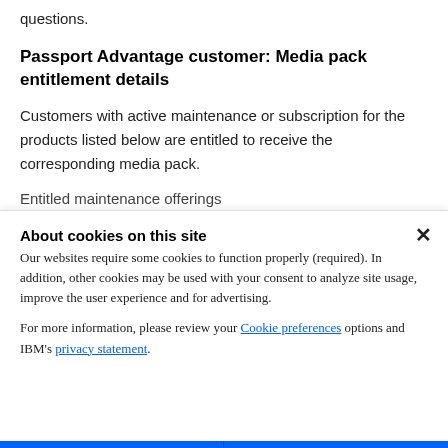questions.
Passport Advantage customer: Media pack entitlement details
Customers with active maintenance or subscription for the products listed below are entitled to receive the corresponding media pack.
Entitled maintenance offerings
About cookies on this site
Our websites require some cookies to function properly (required). In addition, other cookies may be used with your consent to analyze site usage, improve the user experience and for advertising.
For more information, please review your Cookie preferences options and IBM's privacy statement.
Required only
Accept all